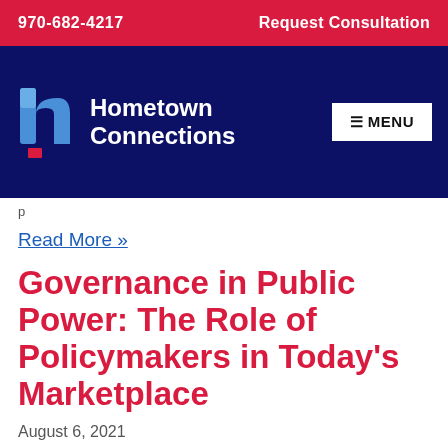970-682-4217    Request Consultation
[Figure (logo): Hometown Connections logo with stylized 'h' icon in blue and red on dark navy background, with MENU button]
p
Read More »
Governance in Public Power: The Role of Policymakers in Today's Marketplace
August 6, 2021